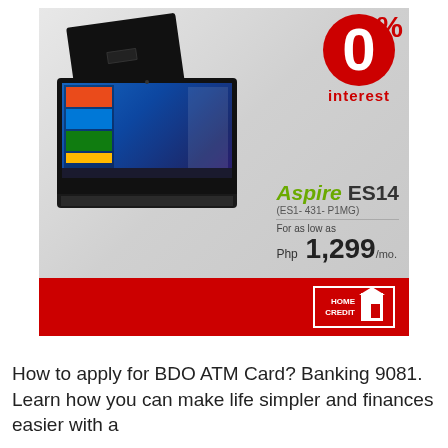[Figure (photo): Advertisement for Acer Aspire ES14 laptop with 0% interest offer from Home Credit. Shows laptop product image on gray background with red 0% interest badge, product name 'Aspire ES14 (ES1-431-P1MG)', pricing 'For as low as Php 1,299/mo.' and Home Credit logo on red footer bar.]
How to apply for BDO ATM Card? Banking 9081. Learn how you can make life simpler and finances easier with a